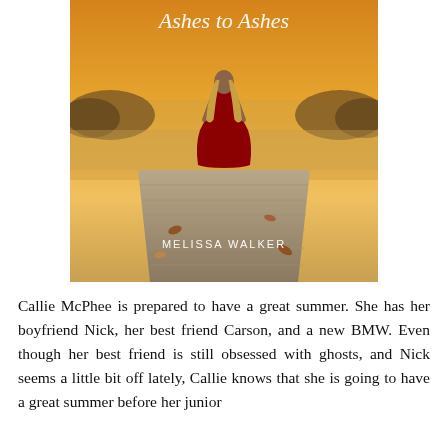[Figure (illustration): Book cover of 'Ashes to Ashes' by Melissa Walker. Shows a woman in a red dress standing on a wooden dock facing away, with a misty golden lake and trees in the background. The title 'Ashes to Ashes' is in white script at the top and 'MELISSA WALKER' is printed in white text near the bottom.]
Callie McPhee is prepared to have a great summer. She has her boyfriend Nick, her best friend Carson, and a new BMW. Even though her best friend is still obsessed with ghosts, and Nick seems a little bit off lately, Callie knows that she is going to have a great summer before her junior